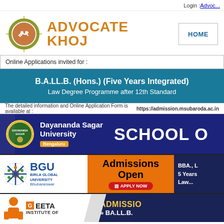Login : Advoc...
[Figure (logo): Advocate Khoj logo with circular emblem and orange text]
HOME
Online Applications invited for :
B.A.LL.B. (Hons.) (Five Years Integrated) Law Degree Programme after 12th Standard
The detailed information and Online Application Form is available at : https://admission.msubaroda.ac.in
[Figure (screenshot): Dayananda Sagar University Bengaluru - School of... banner on dark blue background]
[Figure (screenshot): BGU Birla Global University Bhubaneswar - Admissions Open, BBA., 5 Years Law banner]
[Figure (screenshot): Geeta Institute of... - ADMISSION BA.LL.B. banner on dark blue background]